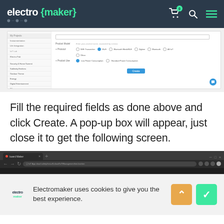electro {maker}
[Figure (screenshot): Screenshot of a web form interface showing sidebar navigation with items including Security & Home Summit, Sublimity Emitters, Outdoor Theme, Energy, Digital Entertainment, Other. Main area shows Product Model field, Protocol Type options (WiFi, Bluetooth, Zigbee, Bluetooth Mesh/BLE, Other, Bluetooth, All IoT, Other), Product Use with Low Power Consumption and Standard Power Consumption radio options. A highlighted red button 'Can't find this category?'. At bottom a blue Create button and chat bubble icon.]
Fill the required fields as done above and click Create. A pop-up box will appear, just close it to get the following screen.
[Figure (screenshot): Browser screenshot showing a dark Chrome browser window with a tab labeled 'board.Maker' and a URL bar showing an IoT App cloud management URL.]
Electromaker uses cookies to give you the best experience.